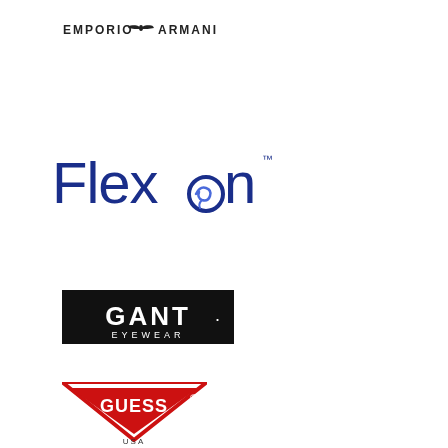[Figure (logo): Emporio Armani logo with eagle emblem]
[Figure (logo): Flexon brand logo in blue with circular swirl on the 'o']
[Figure (logo): Gant Eyewear logo - white text on black rectangular background]
[Figure (logo): Guess logo - red triangle with GUESS text inside]